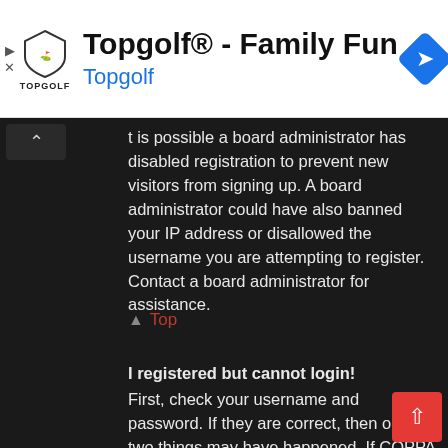[Figure (screenshot): Topgolf advertisement banner with logo, title 'Topgolf® - Family Fun', subtitle 'Topgolf' in blue, and a blue navigation diamond icon on the right]
t is possible a board administrator has disabled registration to prevent new visitors from signing up. A board administrator could have also banned your IP address or disallowed the username you are attempting to register. Contact a board administrator for assistance.
Top
I registered but cannot login!
First, check your username and password. If they are correct, then one of two things may have happened. If COPPA support is enabled and you specified being under 13 years old during registration, you will have to follow the instructions you received. Some boards will also require new registrations to be activated, either by yourself or by an administrator before you can logon; this